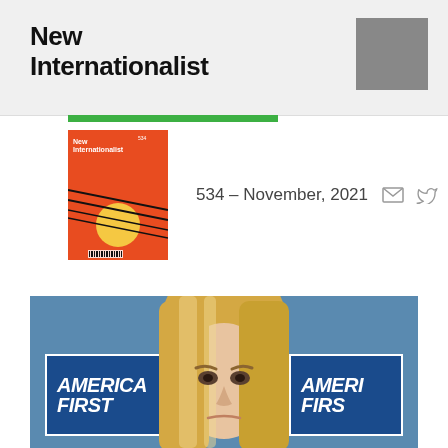New Internationalist
534 – November, 2021
[Figure (photo): Cover of New Internationalist magazine issue 534, November 2021, showing an orange/red background with diagonal lines and a rising sun]
[Figure (photo): Photo of a blonde woman frowning in front of blue 'America First' signs on a blue background]